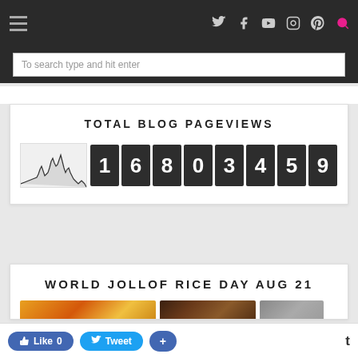Navigation bar with hamburger menu and social icons (Twitter, Facebook, YouTube, Instagram, Pinterest, Search)
To search type and hit enter
[Figure (infographic): Total Blog Pageviews widget showing a small area chart and digit tiles displaying the number 16803459]
TOTAL BLOG PAGEVIEWS
WORLD JOLLOF RICE DAY AUG 21
[Figure (photo): Partial images of jollof rice dishes]
Like 0  Tweet  +  t